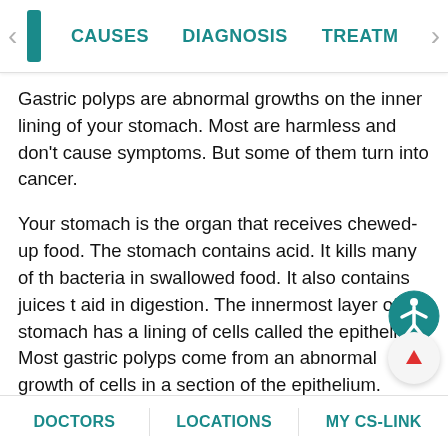< | CAUSES   DIAGNOSIS   TREATM >
Gastric polyps are abnormal growths on the inner lining of your stomach. Most are harmless and don't cause symptoms. But some of them turn into cancer.
Your stomach is the organ that receives chewed-up food. The stomach contains acid. It kills many of the bacteria in swallowed food. It also contains juices that aid in digestion. The innermost layer of the stomach has a lining of cells called the epithelium. Most gastric polyps come from an abnormal growth of cells in a section of the epithelium.
Gastric polyps are not cancerous. But some may turn into cancer. There are many types of gastric polyps.
DOCTORS   LOCATIONS   MY CS-LINK